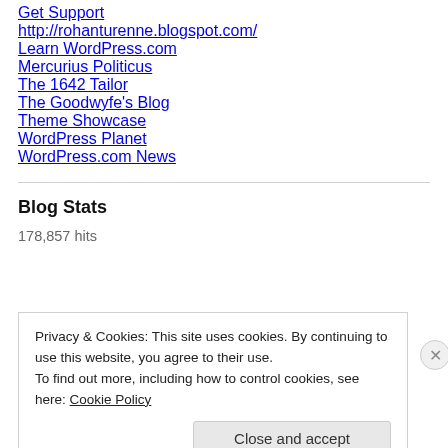Get Support
http://rohanturenne.blogspot.com/
Learn WordPress.com
Mercurius Politicus
The 1642 Tailor
The Goodwyfe's Blog
Theme Showcase
WordPress Planet
WordPress.com News
Blog Stats
178,857 hits
Privacy & Cookies: This site uses cookies. By continuing to use this website, you agree to their use.
To find out more, including how to control cookies, see here: Cookie Policy
Close and accept